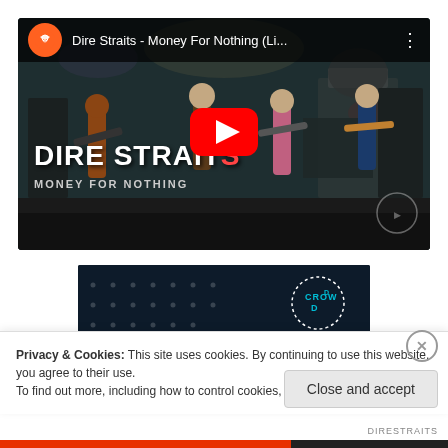[Figure (screenshot): YouTube video thumbnail for Dire Straits - Money For Nothing (Li...) showing the band performing live on stage with a red YouTube play button in the center]
[Figure (screenshot): Partial view of a second web page section with dark background and a dotted-circle logo reading 'CROWD' with a pink bar at top]
Privacy & Cookies: This site uses cookies. By continuing to use this website, you agree to their use.
To find out more, including how to control cookies, see here: Cookie Policy
Close and accept